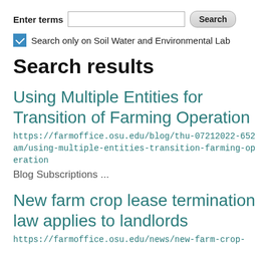Enter terms [search input] Search
Search only on Soil Water and Environmental Lab
Search results
Using Multiple Entities for Transition of Farming Operation
https://farmoffice.osu.edu/blog/thu-07212022-652am/using-multiple-entities-transition-farming-operation
Blog Subscriptions ...
New farm crop lease termination law applies to landlords
https://farmoffice.osu.edu/news/new-farm-crop-